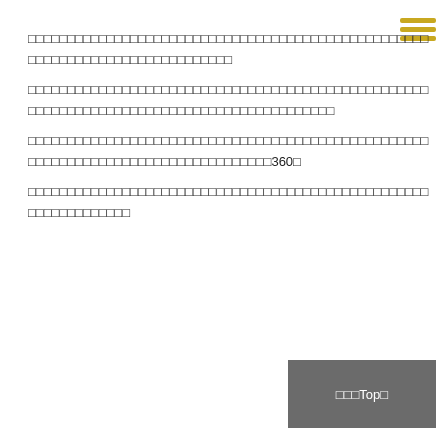[Figure (other): Hamburger menu icon with three horizontal golden/yellow lines in top right corner]
□□□□□□□□□□□□□□□□□□□□□□□□□□□□□□□□□□□□□□□□□□□□□□□□□□□□□□□□□□□□□□□□□□□□□□□□□□□□□□□□□□□□□□□□□□□□□□□□□□□□□□□□□□□□□□□□□□□□□□□□□□□□□□□□□□□□□□□□□□□□□360□□□□□□□□□□□□□□□□□□□□□□□□□□□□□□□□□□□□□□□□□□□□□□
□□□Top□